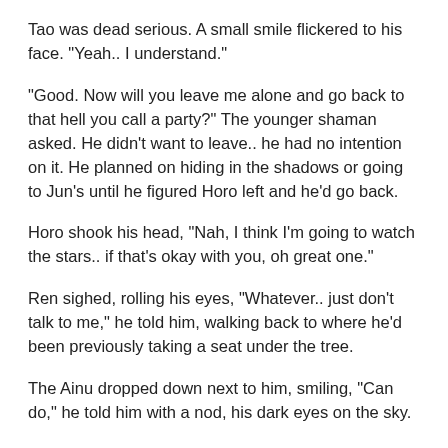Tao was dead serious. A small smile flickered to his face. "Yeah.. I understand."
"Good. Now will you leave me alone and go back to that hell you call a party?" The younger shaman asked. He didn't want to leave.. he had no intention on it. He planned on hiding in the shadows or going to Jun's until he figured Horo left and he'd go back.
Horo shook his head, "Nah, I think I'm going to watch the stars.. if that's okay with you, oh great one."
Ren sighed, rolling his eyes, "Whatever.. just don't talk to me," he told him, walking back to where he'd been previously taking a seat under the tree.
The Ainu dropped down next to him, smiling, "Can do," he told him with a nod, his dark eyes on the sky.